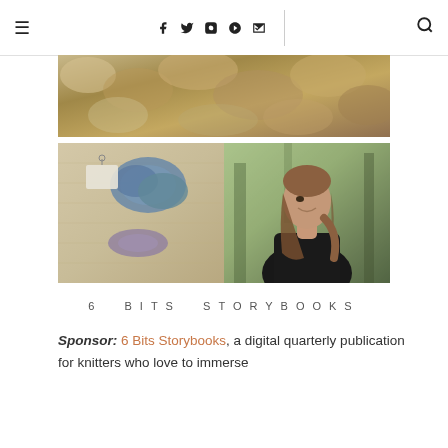≡  f  twitter  instagram  pinterest  rss  |  search
[Figure (photo): Close-up photo of fluffy tan/golden wool fiber or sheep fleece, top portion of a composite image]
[Figure (photo): Two photos side by side: left shows blue and purple yarn skeins on a beige knitted fabric background; right shows a woman with long brown hair in a black jacket smiling outdoors among trees]
6 BITS STORYBOOKS
Sponsor: 6 Bits Storybooks, a digital quarterly publication for knitters who love to immerse